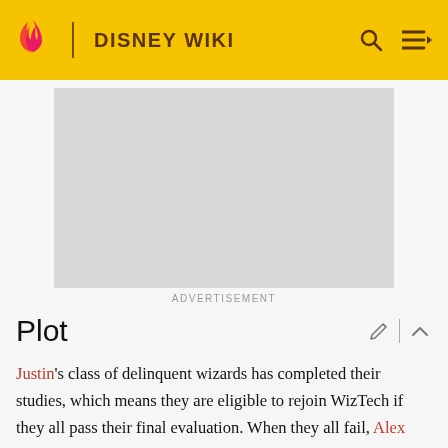DISNEY WIKI
[Figure (other): Gray advertisement placeholder box]
ADVERTISEMENT
Plot
Justin's class of delinquent wizards has completed their studies, which means they are eligible to rejoin WizTech if they all pass their final evaluation. When they all fail, Alex suspects something is not right. The